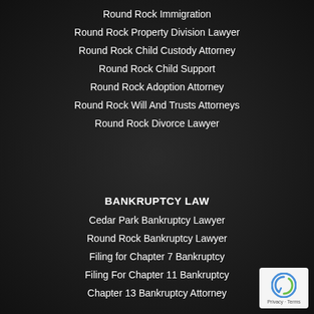Round Rock Immigration
Round Rock Property Division Lawyer
Round Rock Child Custody Attorney
Round Rock Child Support
Round Rock Adoption Attorney
Round Rock Will And Trusts Attorneys
Round Rock Divorce Lawyer
BANKRUPTCY LAW
Cedar Park Bankruptcy Lawyer
Round Rock Bankruptcy Lawyer
Filing for Chapter 7 Bankruptcy
Filing For Chapter 11 Bankruptcy
Chapter 13 Bankruptcy Attorney
[Figure (logo): reCAPTCHA badge with Privacy and Terms text]